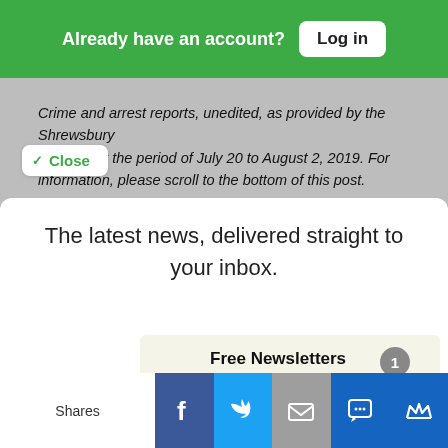Already have an account? Log in
Crime and arrest reports, unedited, as provided by the Shrewsbury [Department] for the period of July 20 to August 2, 2019. For [more] information, please scroll to the bottom of this post.
Close
The latest news, delivered straight to your inbox.
Free Newsletters 1
Shares [Facebook] [Twitter] [Email] [SMS] [Crown]